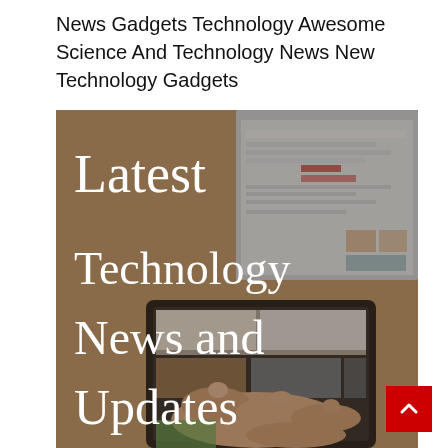News Gadgets Technology Awesome Science And Technology News New Technology Gadgets
[Figure (photo): Photo of hands using a tablet/smartphone with a laptop in the background, with white overlay text reading 'Latest Technology News and Updates']